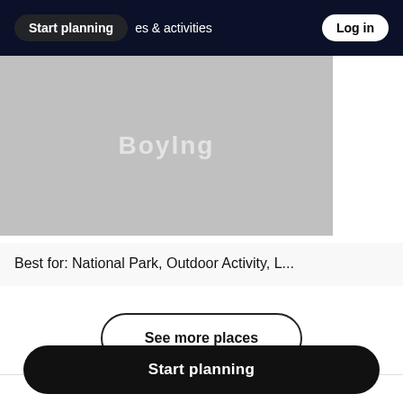Start planning   places & activities   Log in
[Figure (screenshot): Gray placeholder image card with faint white text reading 'Boylng' or similar]
Best for: National Park, Outdoor Activity, L...
See more places
Start planning